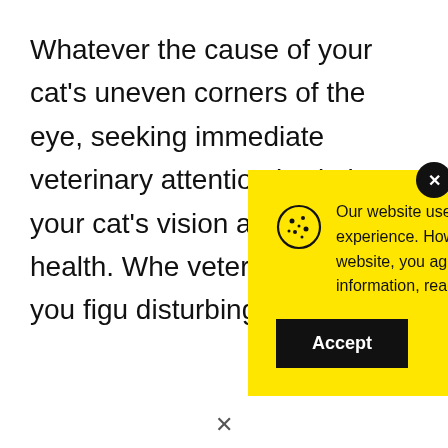Whatever the cause of your cat's uneven corners of the eye, seeking immediate veterinary attention is vital to your cat's vision and eye health. Whe… veterinarian … help you figu… disturbing ey… problem.
[Figure (screenshot): Cookie consent modal with yellow background. Shows cookie icon, text about website cookie usage, link to Cookie Policy, and a black Accept button. A dark close button (×) is in the top-right corner.]